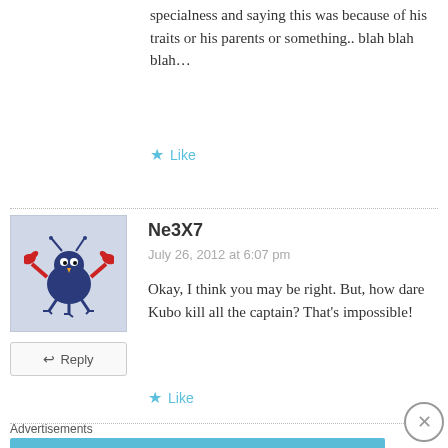specialness and saying this was because of his traits or his parents or something.. blah blah blah…
★ Like
[Figure (photo): Avatar image of a cartoon crab bird character]
↩ Reply
Ne3X7
July 26, 2012 at 6:07 pm
Okay, I think you may be right. But, how dare Kubo kill all the captain? That's impossible!
★ Like
Advertisements
[Figure (screenshot): Day One journaling app advertisement banner with blue background, icons and tagline: The only journaling app you'll ever need.]